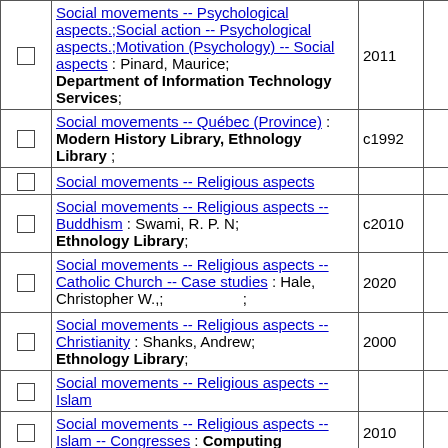|  | Subject/Title/Author/Library | Year | Count |
| --- | --- | --- | --- |
| ☐ | Social movements -- Psychological aspects.;Social action -- Psychological aspects.;Motivation (Psychology) -- Social aspects : Pinard, Maurice; Department of Information Technology Services; | 2011 | 1 |
| ☐ | Social movements -- Québec (Province) : Modern History Library, Ethnology Library ; | c1992 | 1 |
| ☐ | Social movements -- Religious aspects |  | 4 |
| ☐ | Social movements -- Religious aspects -- Buddhism : Swami, R. P. N; Ethnology Library; | c2010 | 1 |
| ☐ | Social movements -- Religious aspects -- Catholic Church -- Case studies : Hale, Christopher W.,; 　　　　　; | 2020 | 1 |
| ☐ | Social movements -- Religious aspects -- Christianity : Shanks, Andrew; Ethnology Library; | 2000 | 1 |
| ☐ | Social movements -- Religious aspects -- Islam |  | 4 |
| ☐ | Social movements -- Religious aspects -- Islam -- Congresses : Computing ... | 2010 | 1 |